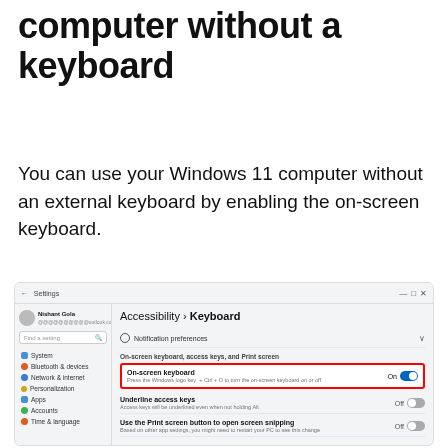computer without a keyboard
You can use your Windows 11 computer without an external keyboard by enabling the on-screen keyboard.
[Figure (screenshot): Windows 11 Settings screenshot showing Accessibility > Keyboard page, with On-screen keyboard toggle switched On (highlighted with red border), and other settings like Underline access keys (Off) and Use the Print screen button to open screen snipping (Off) visible.]